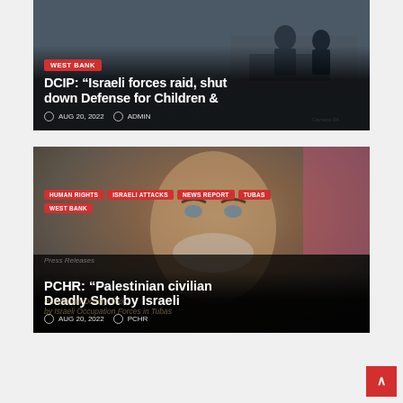[Figure (screenshot): News card 1: CCTV-style security camera footage screenshot showing people in an office/room, dark overlay with white text headline about DCIP.]
WEST BANK
DCIP: “Israeli forces raid, shut down Defense for Children &
AUG 20, 2022   ADMIN
[Figure (photo): News card 2: Close-up photo of an older man with white beard and blue/gray eyes looking upward, with blurred colorful background. Overlaid with category tags and headline about PCHR Palestinian civilian.]
HUMAN RIGHTS   ISRAELI ATTACKS   NEWS REPORT   TUBAS
WEST BANK
PCHR: “Palestinian civilian Deadly Shot by Israeli
AUG 20, 2022   PCHR
Palestinian Deadly Shot by Israeli Occupation Forces in Tubas